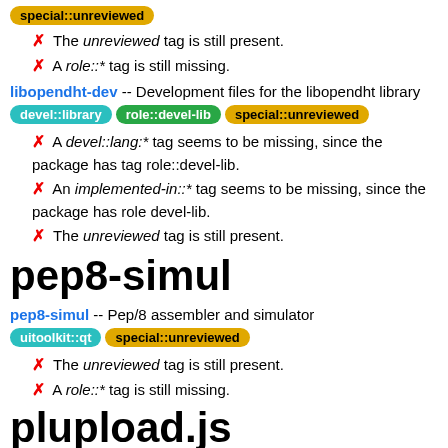special::unreviewed (tag)
✗ The unreviewed tag is still present.
✗ A role::* tag is still missing.
libopendht-dev -- Development files for the libopendht library
devel::library role::devel-lib special::unreviewed (tags)
✗ A devel::lang:* tag seems to be missing, since the package has tag role::devel-lib.
✗ An implemented-in::* tag seems to be missing, since the package has role devel-lib.
✗ The unreviewed tag is still present.
pep8-simul
pep8-simul -- Pep/8 assembler and simulator
uitoolkit::qt special::unreviewed (tags)
✗ The unreviewed tag is still present.
✗ A role::* tag is still missing.
plupload.js